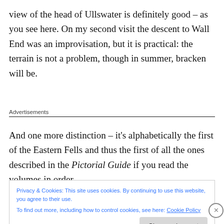view of the head of Ullswater is definitely good – as you see here. On my second visit the descent to Wall End was an improvisation, but it is practical: the terrain is not a problem, though in summer, bracken will be.
Advertisements
And one more distinction – it's alphabetically the first of the Eastern Fells and thus the first of all the ones described in the Pictorial Guide if you read the volumes in order.
Privacy & Cookies: This site uses cookies. By continuing to use this website, you agree to their use.
To find out more, including how to control cookies, see here: Cookie Policy